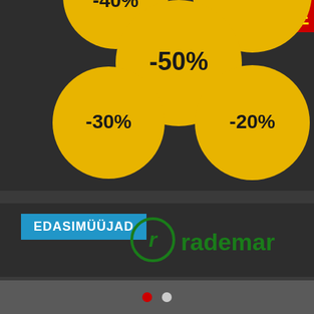[Figure (infographic): Dark background with yellow circular bubbles showing discount percentages: -40%, -50%, -30%, -20%, and a red SALE banner in the top right corner]
EDASIMÜÜJAD
[Figure (logo): Rademar logo - green circular r letter with rademar text in green]
[Figure (logo): Sportland logo - red swoosh symbol with SPORTLAND text in red]